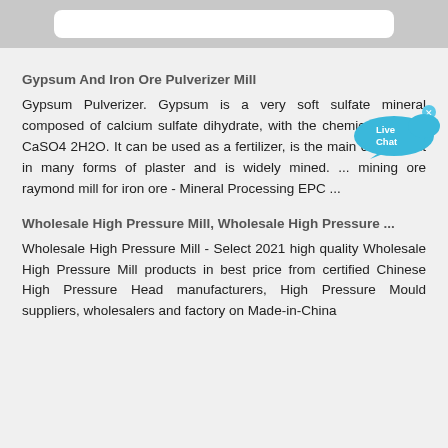Gypsum And Iron Ore Pulverizer Mill
Gypsum Pulverizer. Gypsum is a very soft sulfate mineral composed of calcium sulfate dihydrate, with the chemical formula CaSO4 2H2O. It can be used as a fertilizer, is the main constituent in many forms of plaster and is widely mined. ... mining ore raymond mill for iron ore - Mineral Processing EPC ...
Wholesale High Pressure Mill, Wholesale High Pressure ...
Wholesale High Pressure Mill - Select 2021 high quality Wholesale High Pressure Mill products in best price from certified Chinese High Pressure Head manufacturers, High Pressure Mould suppliers, wholesalers and factory on Made-in-China